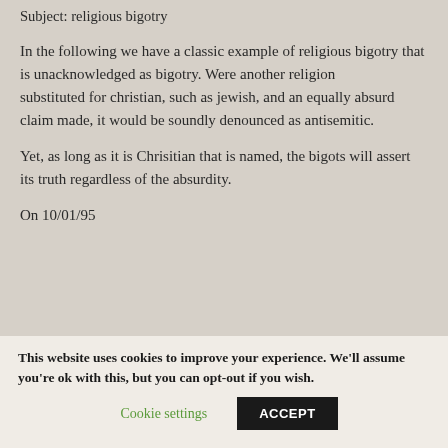Subject: religious bigotry
In the following we have a classic example of religious bigotry that is unacknowledged as bigotry. Were another religion substituted for christian, such as jewish, and an equally absurd claim made, it would be soundly denounced as antisemitic.
Yet, as long as it is Chrisitian that is named, the bigots will assert its truth regardless of the absurdity.
On 10/01/95
This website uses cookies to improve your experience. We'll assume you're ok with this, but you can opt-out if you wish.
Cookie settings
ACCEPT